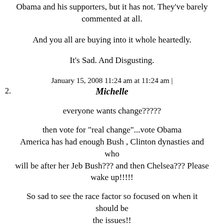Obama and his supporters, but it has not. They've barely commented at all.
And you all are buying into it whole heartedly.
It's Sad. And Disgusting.
January 15, 2008 11:24 am at 11:24 am |
2. Michelle
everyone wants change?????
then vote for "real change"...vote Obama America has had enough Bush , Clinton dynasties and who will be after her Jeb Bush??? and then Chelsea??? Please wake up!!!!!
So sad to see the race factor so focused on when it should be the issues!! Blacks are smart enough to know where their loyalties lie if its Clinton fine and if its Obama thats fine too! whats really destructive is the dems attacking their own playing right into the republicans with that factor
January 15, 2008 11:25 am at 11:25 am |
3. Frank tyler, ok